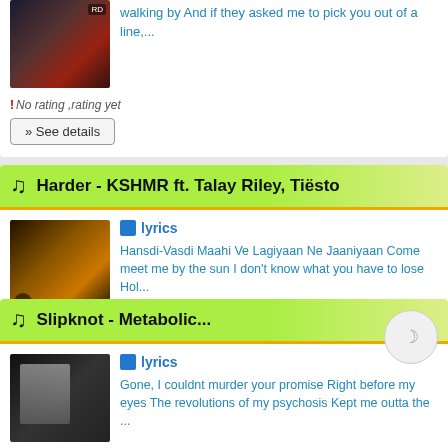[Figure (photo): Concert photo thumbnail (partial, top of page)]
walking by And if they asked me to pick you out of a line,...
No rating ,rating yet
» See details
Harder - KSHMR ft. Talay Riley, Tiësto
[Figure (photo): DJ performance photo thumbnail]
lyrics
Hansdi-Vasdi Maahi Ve Lagiyaan Ne Jaaniyaan Come meet me by the sun I don't know what you have to lose Hol...
No rating ,rating yet
» See details
Slipknot - Metabolic...
[Figure (photo): Slipknot album art thumbnail]
lyrics
Gone, I couldnt murder your promise Right before my eyes The revolutions of my psychosis Kept me outta the ...